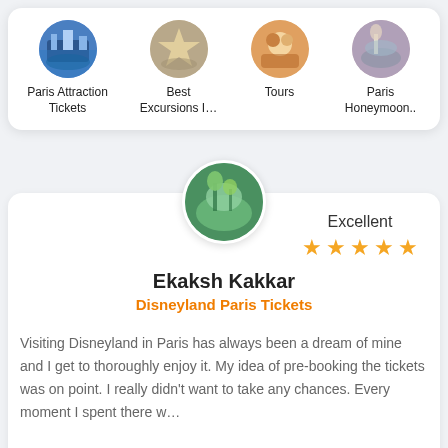[Figure (other): Navigation categories row with circular icons: Paris Attraction Tickets, Best Excursions I..., Tours, Paris Honeymoon..]
[Figure (photo): Circular avatar image for reviewer Ekaksh Kakkar showing green/nature scene]
Excellent
★★★★★
Ekaksh Kakkar
Disneyland Paris Tickets
Visiting Disneyland in Paris has always been a dream of mine and I get to thoroughly enjoy it. My idea of pre-booking the tickets was on point. I really didn't want to take any chances. Every moment I spent there w…
[Figure (photo): Circular avatar image for reviewer Esha Trivedi showing aerial/skydiving scene]
Excellent
★★★★★
Esha Trivedi